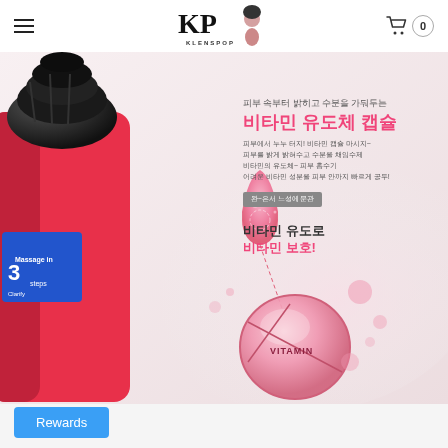KLENSPOP
[Figure (photo): Korean beauty product (pink and black pump bottle) with vitamin capsule infographic showing a pink droplet and a pink capsule labeled VITAMIN, on a light pink/white background]
피부 속부터 밝히고 수분을 가둬두는
비타민 유도체 캡슐
피부에서 누누 터지! 비타민 캡슐 마시지~
피부를 밝게 밝혀수고 수분을 채임수제
비타민의 유도체~ 피부 흡수기
어려운 비타민 성분을 피부 안까지 빠르게 공두!
완~은서 느성에 문관
비타민 유도로
비타민 보호!
Rewards